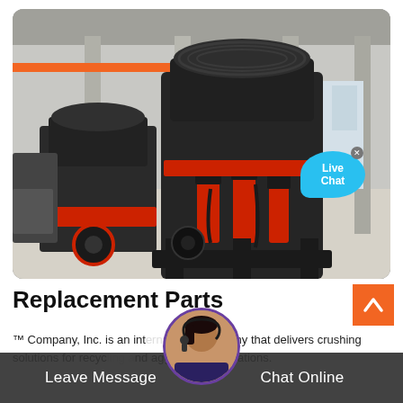[Figure (photo): Industrial cone crusher machines in a factory/warehouse setting. Two large dark grey and red crushing machines on steel frames are shown indoors with orange overhead cranes visible in the background. A 'Live Chat' speech bubble overlay is visible in the upper right of the image.]
Replacement Parts
™ Company, Inc. is an international company that delivers crushing solutions for recycling and aggregate applications.